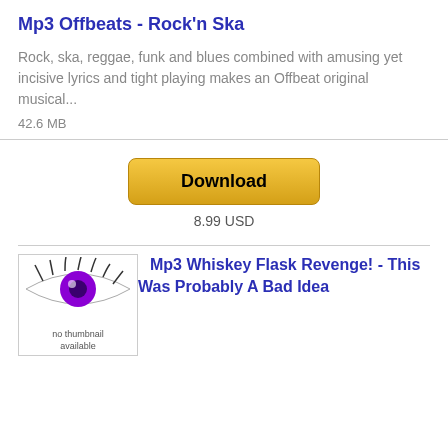Mp3 Offbeats - Rock'n Ska
Rock, ska, reggae, funk and blues combined with amusing yet incisive lyrics and tight playing makes an Offbeat original musical...
42.6 MB
[Figure (other): Download button with golden/yellow gradient styling]
8.99 USD
[Figure (illustration): Thumbnail placeholder image showing a stylized eye with purple iris and text 'no thumbnail available']
Mp3 Whiskey Flask Revenge! - This Was Probably A Bad Idea